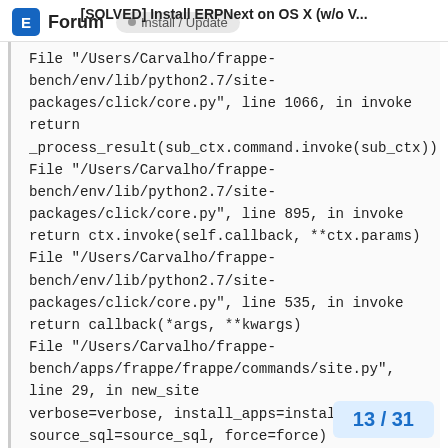[SOLVED] Install ERPNext on OS X (w/o V...
Forum  Install / Update
File "/Users/Carvalho/frappe-bench/env/lib/python2.7/site-packages/click/core.py", line 1066, in invoke
return _process_result(sub_ctx.command.invoke(sub_ctx))
File "/Users/Carvalho/frappe-bench/env/lib/python2.7/site-packages/click/core.py", line 895, in invoke
return ctx.invoke(self.callback, **ctx.params)
File "/Users/Carvalho/frappe-bench/env/lib/python2.7/site-packages/click/core.py", line 535, in invoke
return callback(*args, **kwargs)
File "/Users/Carvalho/frappe-bench/apps/frappe/frappe/commands/site.py", line 29, in new_site
verbose=verbose, install_apps=install_app,
source_sql=source_sql, force=force)
File "/Users/Carvalho/frappe-
13 / 31